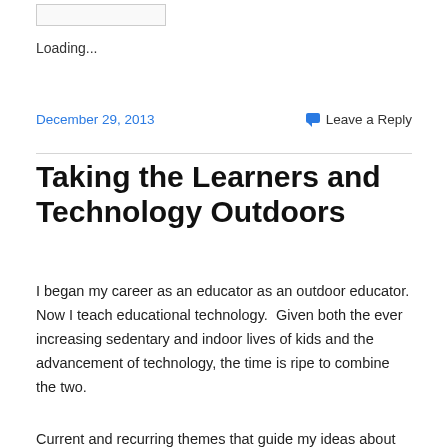Loading...
December 29, 2013
Leave a Reply
Taking the Learners and Technology Outdoors
I began my career as an educator as an outdoor educator. Now I teach educational technology.  Given both the ever increasing sedentary and indoor lives of kids and the advancement of technology, the time is ripe to combine the two.
Current and recurring themes that guide my ideas about